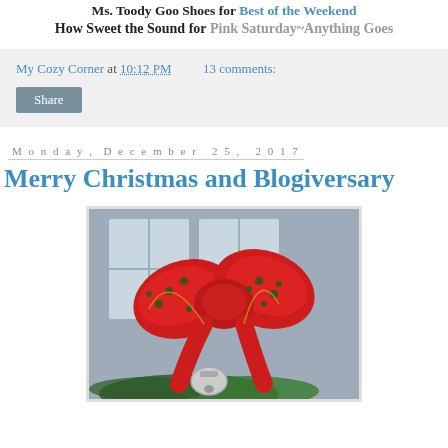Ms. Toody Goo Shoes for Best of the Weekend How Sweet the Sound for Pink Saturday~Anything Goes
My Cozy Corner at 10:12 PM    13 comments:
Share
Monday, December 25, 2017
Merry Christmas and Blogiversary
[Figure (photo): A close-up photo of a large red Christmas bow with green and gold dot pattern, resting on evergreen branches and silver bells, with a blurred window background.]